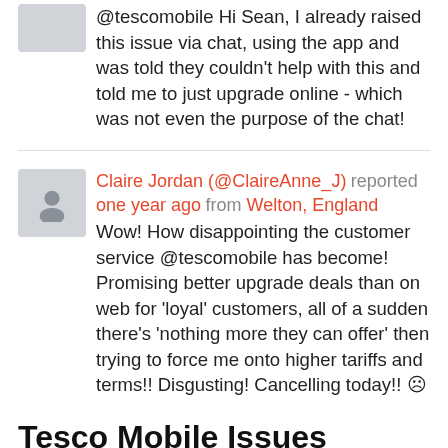@tescomobile Hi Sean, I already raised this issue via chat, using the app and was told they couldn't help with this and told me to just upgrade online - which was not even the purpose of the chat!
Claire Jordan (@ClaireAnne_J) reported one year ago from Welton, England
Wow! How disappointing the customer service @tescomobile has become! Promising better upgrade deals than on web for 'loyal' customers, all of a sudden there's 'nothing more they can offer' then trying to force me onto higher tariffs and terms!! Disgusting! Cancelling today!! ☹
Tesco Mobile Issues Reports
Latest outage, problems and issue reports in social media:
Robert Leggett (@darkweb35) reported a minute...